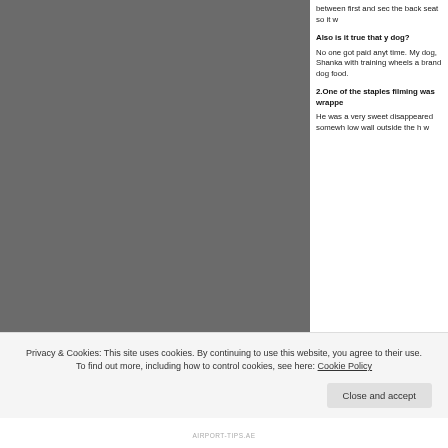[Figure (photo): Dark grey/charcoal toned photo taking up the left portion of the page]
between first and sec the back seat so it w
Also is it true that y dog?
No one got paid anyt time. My dog, Shanka with training wheels a brand dog food.
2.One of the staples filming was wrappe
He was a very sweet disappeared somewh low wall outside the h w
Privacy & Cookies: This site uses cookies. By continuing to use this website, you agree to their use.
To find out more, including how to control cookies, see here: Cookie Policy
Close and accept
AIRPORT-TIPS.AE